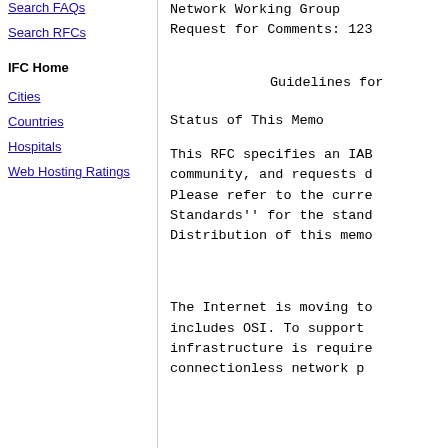Search FAQs
Search RFCs
IFC Home
Cities
Countries
Hospitals
Web Hosting Ratings
Network Working Group
Request for Comments: 123
Guidelines for
Status of This Memo
This RFC specifies an IAB community, and requests c Please refer to the curre Standards'' for the stand Distribution of this memo
The Internet is moving to includes OSI. To support infrastructure is require connectionless network p